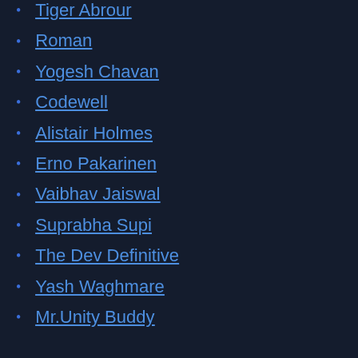Tiger Abrour
Roman
Yogesh Chavan
Codewell
Alistair Holmes
Erno Pakarinen
Vaibhav Jaiswal
Suprabha Supi
The Dev Definitive
Yash Waghmare
Mr.Unity Buddy